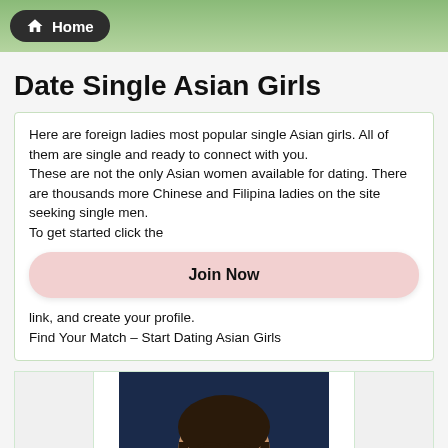Home
Date Single Asian Girls
Here are foreign ladies most popular single Asian girls. All of them are single and ready to connect with you.
These are not the only Asian women available for dating. There are thousands more Chinese and Filipina ladies on the site seeking single men.
To get started click the
Join Now
link, and create your profile.
Find Your Match – Start Dating Asian Girls
[Figure (photo): Portrait photo of a young Asian woman with shoulder-length dark hair against a dark blue background]